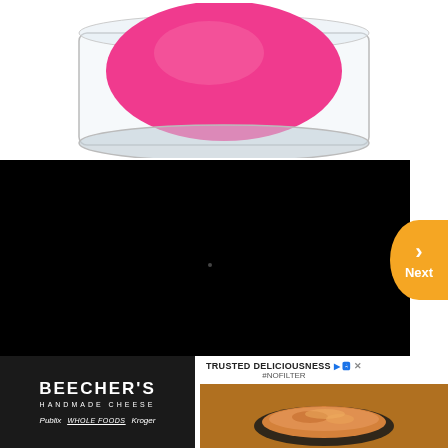[Figure (photo): Pink beauty sponge/blender in a clear cylindrical container, viewed from above on white background]
[Figure (screenshot): Black video player area with a Next navigation button (orange, circular) on the right side]
[Figure (photo): Beecher's Handmade Cheese advertisement with black background, white text, and store logos for Publix, Whole Foods, and Kroger]
[Figure (photo): Food advertisement showing TRUSTED DELICIOUSNESS #NOFILTER with pasta dish image and AdChoices icon]